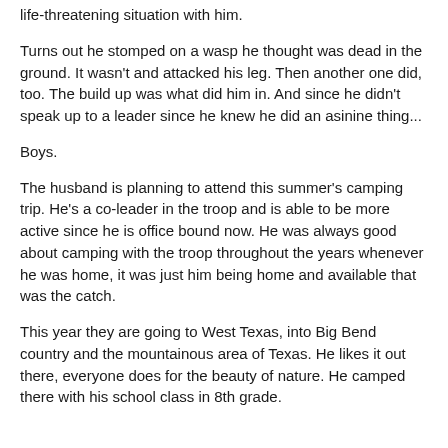life-threatening situation with him.
Turns out he stomped on a wasp he thought was dead in the ground. It wasn't and attacked his leg. Then another one did, too. The build up was what did him in. And since he didn't speak up to a leader since he knew he did an asinine thing...
Boys.
The husband is planning to attend this summer's camping trip. He's a co-leader in the troop and is able to be more active since he is office bound now. He was always good about camping with the troop throughout the years whenever he was home, it was just him being home and available that was the catch.
This year they are going to West Texas, into Big Bend country and the mountainous area of Texas. He likes it out there, everyone does for the beauty of nature. He camped there with his school class in 8th grade.